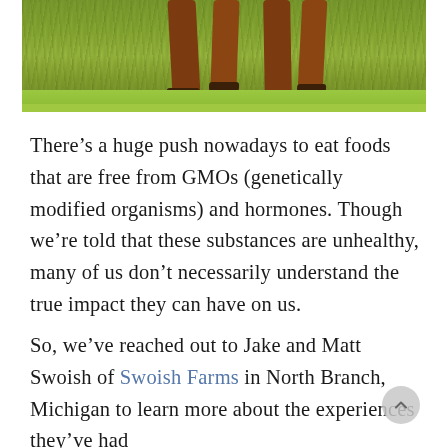[Figure (photo): Close-up photo of cattle legs standing on green grass field, viewed from low angle showing hooves and lower legs on a sunny day.]
There’s a huge push nowadays to eat foods that are free from GMOs (genetically modified organisms) and hormones. Though we’re told that these substances are unhealthy, many of us don’t necessarily understand the true impact they can have on us.
So, we’ve reached out to Jake and Matt Swoish of Swoish Farms in North Branch, Michigan to learn more about the experiences they’ve had